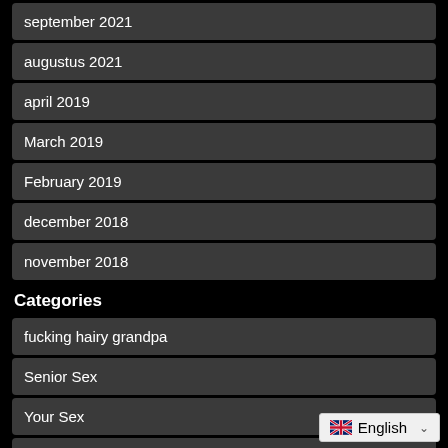september 2021
augustus 2021
april 2019
March 2019
February 2019
december 2018
november 2018
Categories
fucking hairy grandpa
Senior Sex
Your Sex
Grandpa fucks teen
Opa Sex
Grandpa-granddaughter